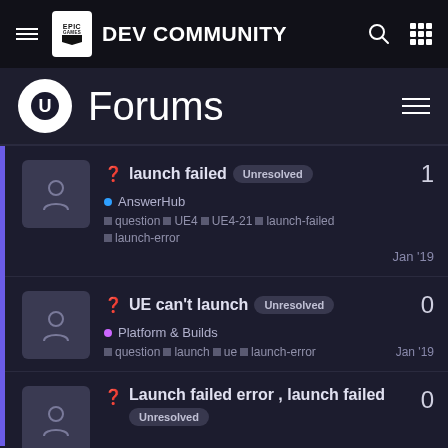Epic Games Dev Community — Forums
Forums
launch failed [Unresolved] — AnswwerHub — question, UE4, UE4-21, launch-failed, launch-error — Jan '19 — 1 reply
UE can't launch [Unresolved] — Platform & Builds — question, launch, ue, launch-error — Jan '19 — 0 replies
Launch failed error , launch failed [Unresolved] — 0 replies